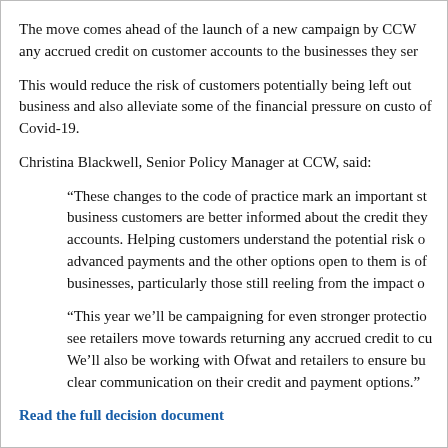The move comes ahead of the launch of a new campaign by CCW any accrued credit on customer accounts to the businesses they ser
This would reduce the risk of customers potentially being left out business and also alleviate some of the financial pressure on custo of Covid-19.
Christina Blackwell, Senior Policy Manager at CCW, said:
“These changes to the code of practice mark an important st business customers are better informed about the credit they accounts. Helping customers understand the potential risk o advanced payments and the other options open to them is of businesses, particularly those still reeling from the impact o
“This year we’ll be campaigning for even stronger protectio see retailers move towards returning any accrued credit to cu We’ll also be working with Ofwat and retailers to ensure bu clear communication on their credit and payment options.”
Read the full decision document